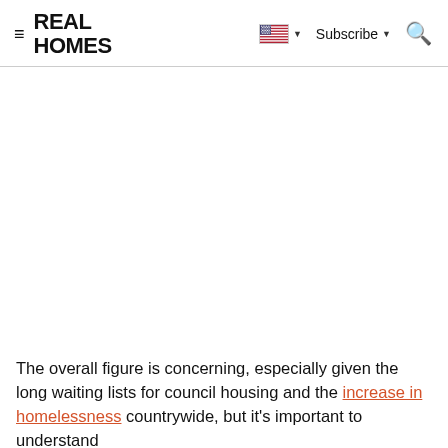REAL HOMES — Subscribe
The overall figure is concerning, especially given the long waiting lists for council housing and the increase in homelessness countrywide, but it's important to understand